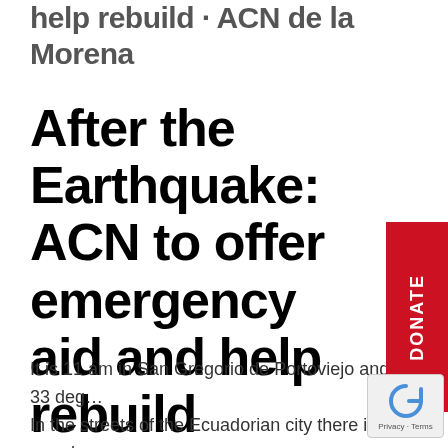help rebuild · ACN de la Morena
After the Earthquake: ACN to offer emergency aid and help rebuild
It is 11 am in San Gregorio de Portoviejo and 33 deg… In the streets of the Ecuadorian city there is an od… of decomposition and burning. A few days before the